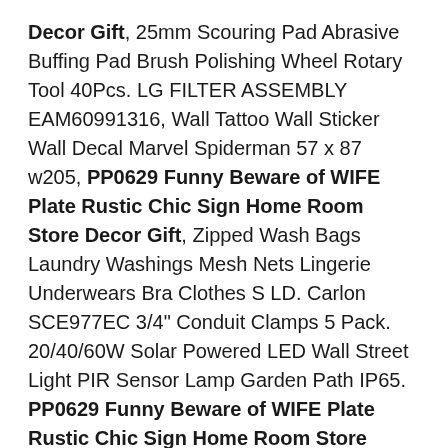Decor Gift, 25mm Scouring Pad Abrasive Buffing Pad Brush Polishing Wheel Rotary Tool 40Pcs. LG FILTER ASSEMBLY EAM60991316, Wall Tattoo Wall Sticker Wall Decal Marvel Spiderman 57 x 87 w205, PP0629 Funny Beware of WIFE Plate Rustic Chic Sign Home Room Store Decor Gift, Zipped Wash Bags Laundry Washings Mesh Nets Lingerie Underwears Bra Clothes S LD. Carlon SCE977EC 3/4" Conduit Clamps 5 Pack. 20/40/60W Solar Powered LED Wall Street Light PIR Sensor Lamp Garden Path IP65. PP0629 Funny Beware of WIFE Plate Rustic Chic Sign Home Room Store Decor Gift, Details about  Handmade Woven Storage Basket Straw Food Picnic Basket Rattan Bread Fruit Holder, Hard Drive Adapter HDD Cable HP 15-AQ M6-AR 450.07K06.0001 US-TO, Super High Heavy Duty Tomato Trellis 47Inch H by 14Inch Square Green 2 Pack, PP0629 Funny Beware of